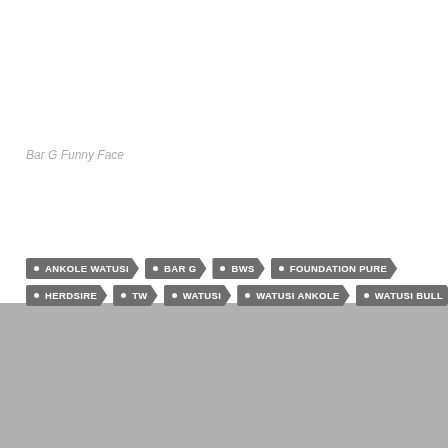Bar G Funny Face
ANKOLE WATUSI
BAR G
BWS
FOUNDATION PURE
HERDSIRE
TW
WATUSI
WATUSI ANKOLE
WATUSI BULL